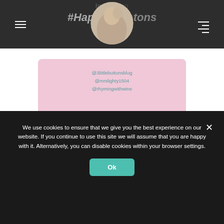Instagram #HappyLittleButtons
[Figure (screenshot): Pink promotional box with Instagram handles @3littlebuttonsblog @mrslighty1504 @rhymingwithwine, decorative hearts and stars, and an Instagram icon in the center]
I take your privacy seriously and I will only use your personal information to provide the All Things
We use cookies to ensure that we give you the best experience on our website. If you continue to use this site we will assume that you are happy with it. Alternatively, you can disable cookies within your browser settings.
Ok